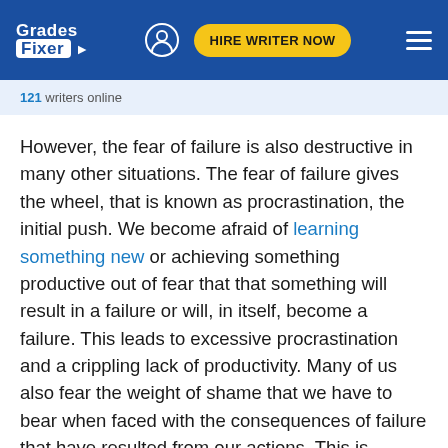Grades Fixer — HIRE WRITER NOW
121 writers online
However, the fear of failure is also destructive in many other situations. The fear of failure gives the wheel, that is known as procrastination, the initial push. We become afraid of learning something new or achieving something productive out of fear that that something will result in a failure or will, in itself, become a failure. This leads to excessive procrastination and a crippling lack of productivity. Many of us also fear the weight of shame that we have to bear when faced with the consequences of failure that have resulted from our actions. This is problem because, at its core, failure is somewhat essential to everybody's learning experience. The fear of failure also amplifies the fear of learning...